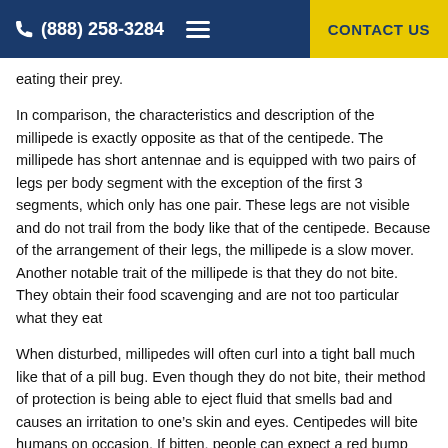(888) 258-3284   CONTACT US
eating their prey.
In comparison, the characteristics and description of the millipede is exactly opposite as that of the centipede. The millipede has short antennae and is equipped with two pairs of legs per body segment with the exception of the first 3 segments, which only has one pair. These legs are not visible and do not trail from the body like that of the centipede. Because of the arrangement of their legs, the millipede is a slow mover. Another notable trait of the millipede is that they do not bite. They obtain their food scavenging and are not too particular what they eat
When disturbed, millipedes will often curl into a tight ball much like that of a pill bug. Even though they do not bite, their method of protection is being able to eject fluid that smells bad and causes an irritation to one’s skin and eyes. Centipedes will bite humans on occasion. If bitten, people can expect a red bump that swells and itches or stings much like that of a bee sting. However, neither centipedes nor millipedes are considered dangerous to humans or pets. Nor do they transmit diseases to humans. Neither of these arthropods are